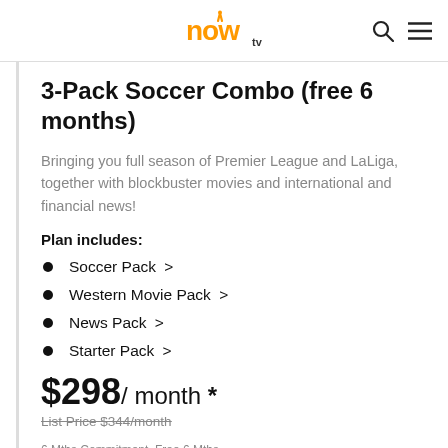now tv
3-Pack Soccer Combo (free 6 months)
Bringing you full season of Premier League and LaLiga, together with blockbuster movies and international and financial news!
Plan includes:
Soccer Pack >
Western Movie Pack >
News Pack >
Starter Pack >
$298/ month *
List Price $344/month
6 Mths Commitment, Free 6 Mths